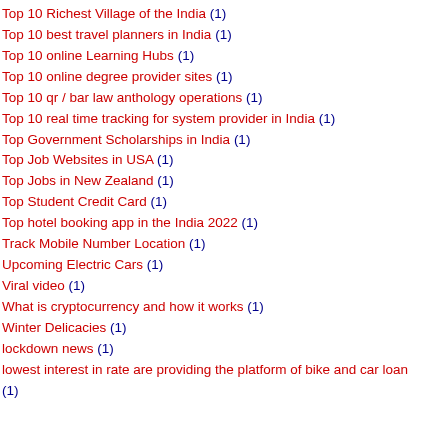Top 10 Richest Village of the India (1)
Top 10 best travel planners in India (1)
Top 10 online Learning Hubs (1)
Top 10 online degree provider sites (1)
Top 10 qr / bar law anthology operations (1)
Top 10 real time tracking for system provider in India (1)
Top Government Scholarships in India (1)
Top Job Websites in USA (1)
Top Jobs in New Zealand (1)
Top Student Credit Card (1)
Top hotel booking app in the India 2022 (1)
Track Mobile Number Location (1)
Upcoming Electric Cars (1)
Viral video (1)
What is cryptocurrency and how it works (1)
Winter Delicacies (1)
lockdown news (1)
lowest interest in rate are providing the platform of bike and car loan (1)